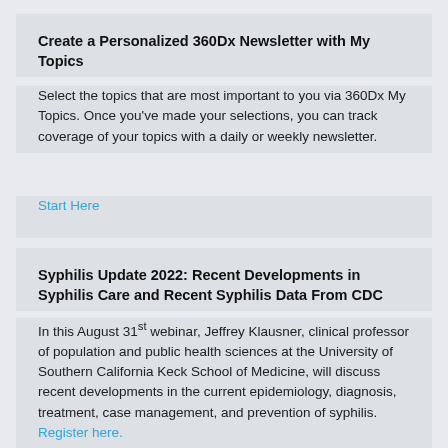Create a Personalized 360Dx Newsletter with My Topics
Select the topics that are most important to you via 360Dx My Topics. Once you've made your selections, you can track coverage of your topics with a daily or weekly newsletter.
Start Here
Syphilis Update 2022: Recent Developments in Syphilis Care and Recent Syphilis Data From CDC
In this August 31st webinar, Jeffrey Klausner, clinical professor of population and public health sciences at the University of Southern California Keck School of Medicine, will discuss recent developments in the current epidemiology, diagnosis, treatment, case management, and prevention of syphilis. Register here.